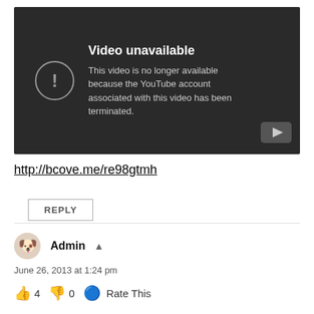[Figure (screenshot): YouTube video unavailable error screen with dark background, exclamation mark icon in circle, text 'Video unavailable' and description, YouTube logo in bottom right corner.]
http://bcove.me/re98gtmh
REPLY
Admin
June 26, 2013 at 1:24 pm
👍 4 👎 0 ℹ Rate This